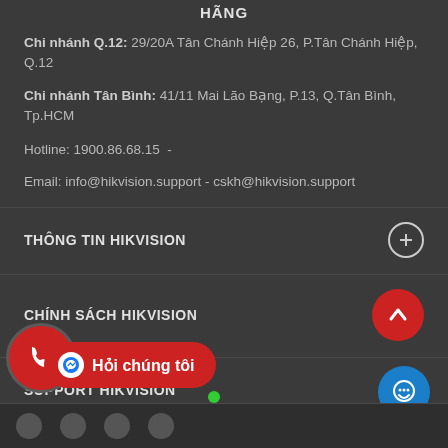HÃNG
Chi nhánh Q.12: 29/20A Tân Chánh Hiệp 26, P.Tân Chánh Hiệp, Q.12
Chi nhánh Tân Bình: 41/11 Mai Lão Bạng, P.13, Q.Tân Bình, Tp.HCM
Hotline: 1900.86.68.15 -
Email: info@hikvision.support - cskh@hikvision.support
THÔNG TIN HIKVISION
CHÍNH SÁCH HIKVISION
SUPPORT HIKVISION
Hỏi chúng tôi